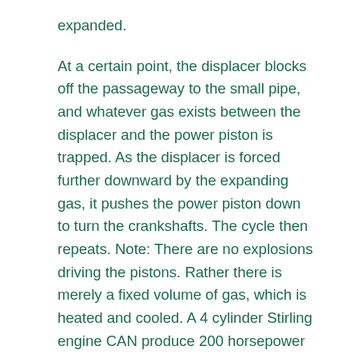expanded.
At a certain point, the displacer blocks off the passageway to the small pipe, and whatever gas exists between the displacer and the power piston is trapped. As the displacer is forced further downward by the expanding gas, it pushes the power piston down to turn the crankshafts. The cycle then repeats. Note: There are no explosions driving the pistons. Rather there is merely a fixed volume of gas, which is heated and cooled. A 4 cylinder Stirling engine CAN produce 200 horsepower from 57 cubic inches.” Wow again.
BUT, you say, But is this really a steam engine? Not necessarily. Steam probably in 1820… but today we